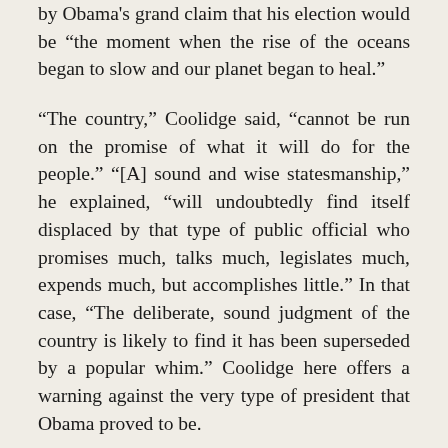by Obama's grand claim that his election would be “the moment when the rise of the oceans began to slow and our planet began to heal.”
“The country,” Coolidge said, “cannot be run on the promise of what it will do for the people.” “[A] sound and wise statesmanship,” he explained, “will undoubtedly find itself displaced by that type of public official who promises much, talks much, legislates much, expends much, but accomplishes little.” In that case, “The deliberate, sound judgment of the country is likely to find it has been superseded by a popular whim.” Coolidge here offers a warning against the very type of president that Obama proved to be.
Moreover, the habit of promising much, he says, precludes the possibility of sound and wise